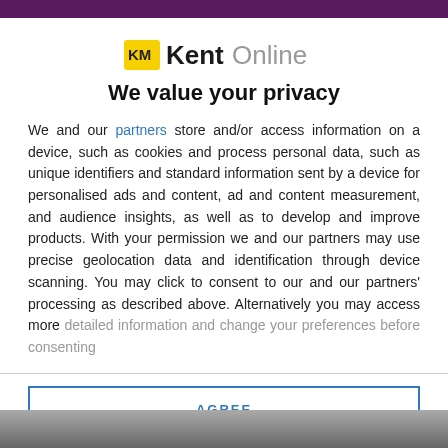[Figure (logo): KM KentOnline logo with yellow KM badge and bold/light Kent Online text]
We value your privacy
We and our partners store and/or access information on a device, such as cookies and process personal data, such as unique identifiers and standard information sent by a device for personalised ads and content, ad and content measurement, and audience insights, as well as to develop and improve products. With your permission we and our partners may use precise geolocation data and identification through device scanning. You may click to consent to our and our partners' processing as described above. Alternatively you may access more detailed information and change your preferences before consenting
AGREE
MORE OPTIONS